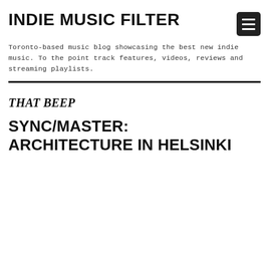INDIE MUSIC FILTER
Toronto-based music blog showcasing the best new indie music. To the point track features, videos, reviews and streaming playlists.
THAT BEEP
SYNC/MASTER: ARCHITECTURE IN HELSINKI